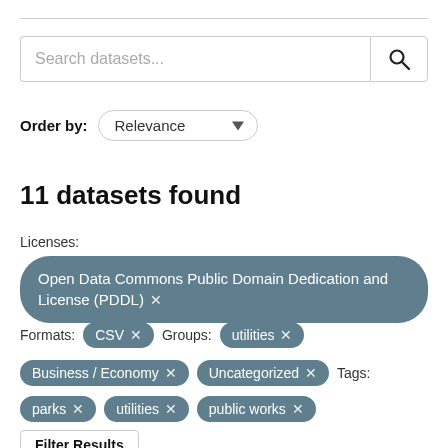[Figure (screenshot): Search bar with placeholder text 'Search datasets...' and a search button with magnifying glass icon]
Order by: Relevance
11 datasets found
Licenses:
Open Data Commons Public Domain Dedication and License (PDDL) ×
Formats: CSV × Groups: utilities ×
Business / Economy × Uncategorized × Tags:
parks × utilities × public works ×
Filter Results